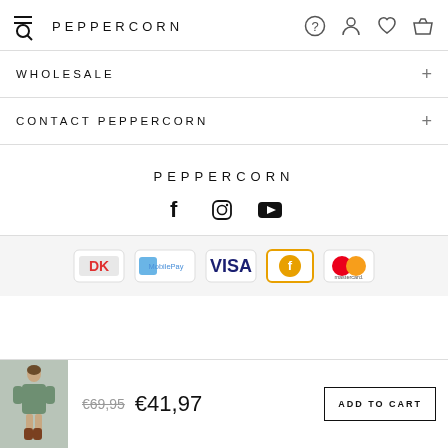PEPPERCORN
WHOLESALE +
CONTACT PEPPERCORN +
PEPPERCORN
[Figure (illustration): Social media icons: Facebook, Instagram, YouTube]
[Figure (illustration): Payment method logos: Dankort, MobilePay, VISA, ePay, Mastercard]
[Figure (photo): Product thumbnail: model wearing a green dress with brown boots]
€69,95  €41,97
ADD TO CART